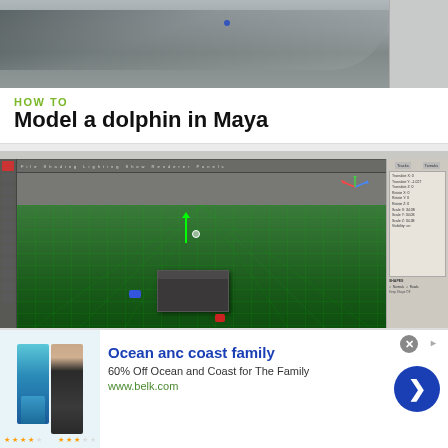[Figure (screenshot): Screenshot of a 3D modeling application showing a dark landscape/terrain, partially visible at top of page]
HOW TO
Model a dolphin in Maya
[Figure (screenshot): Screenshot of Maya 3D application showing a green grid viewport with a dark cube/box object, left toolbar, and right properties panel]
HOW TO
Create a water shader in Maya
[Figure (infographic): Advertisement banner: Ocean anc coast family - 60% Off Ocean and Coast for The Family - www.belk.com, with clothing images and blue circular arrow button]